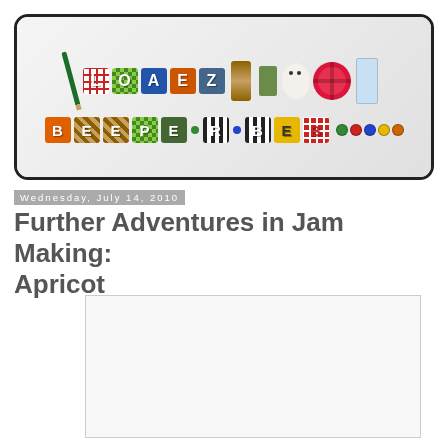[Figure (photo): Blog header banner with colorful fabric craft letters spelling 'LOAEZ DEEPER BEB' with sewing notions, spools of thread, buttons, stuffed bear toy, pin cushion, and ribbon on white background. Rounded rectangle border.]
Wednesday, July 14, 2010
Further Adventures in Jam Making: Apricot
[Figure (photo): White/blank photo placeholder rectangle]